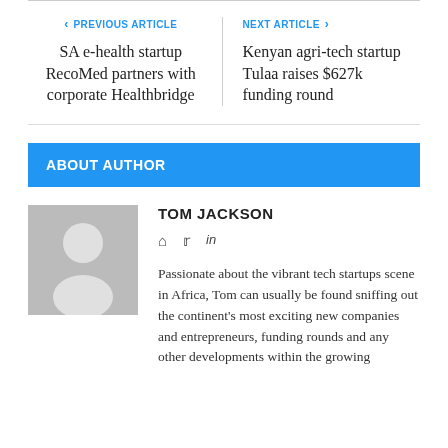‹ PREVIOUS ARTICLE
SA e-health startup RecoMed partners with corporate Healthbridge
NEXT ARTICLE ›
Kenyan agri-tech startup Tulaa raises $627k funding round
ABOUT AUTHOR
TOM JACKSON
[Figure (other): Author avatar placeholder with person silhouette icon]
Passionate about the vibrant tech startups scene in Africa, Tom can usually be found sniffing out the continent's most exciting new companies and entrepreneurs, funding rounds and any other developments within the growing